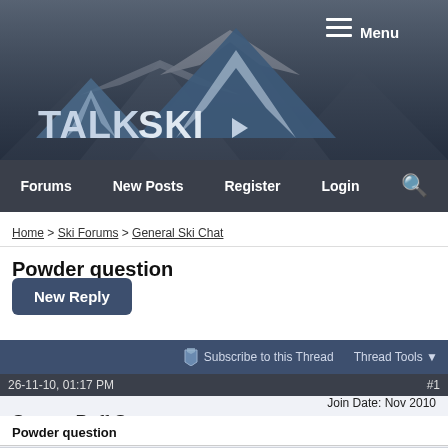[Figure (logo): TalkSki forum logo with mountain graphic on a dark snowy banner background]
Forums   New Posts   Register   Login   [Search]
Home > Ski Forums > General Ski Chat
Powder question
New Reply
Subscribe to this Thread   Thread Tools
26-11-10, 01:17 PM   #1
Scoooty Puff Sr.   Join Date: Nov 2010   Location: Texas   Posts: 6
Powder question